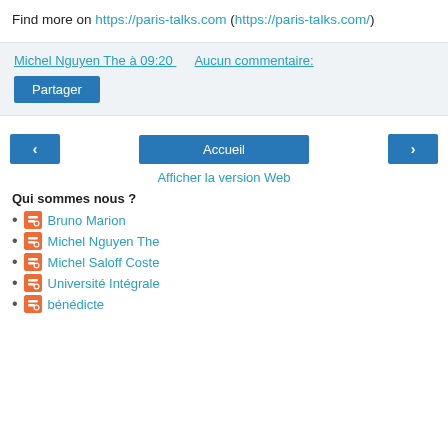Find more on https://paris-talks.com (https://paris-talks.com/)
Michel Nguyen The à 09:20    Aucun commentaire:
Partager
‹   Accueil   ›
Afficher la version Web
Qui sommes nous ?
Bruno Marion
Michel Nguyen The
Michel Saloff Coste
Université Intégrale
bénédicte